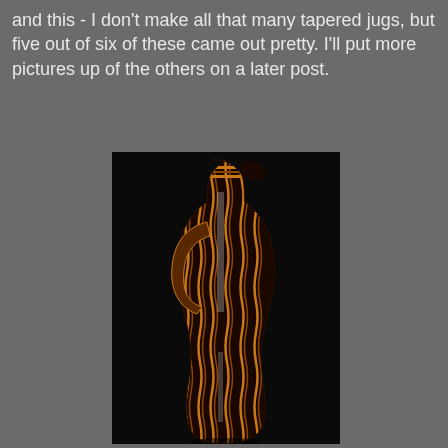and this - I don't make all that many tapered jugs, but five out of six of these came out pretty. I'll put more pictures up of the others on a later post.
[Figure (photo): A tall tapered ceramic jug with a dark black glaze decorated with wavy orange and brown vertical stripe patterns. The jug has a handle on the left side and a spout at the top. The photo is taken against a black background.]